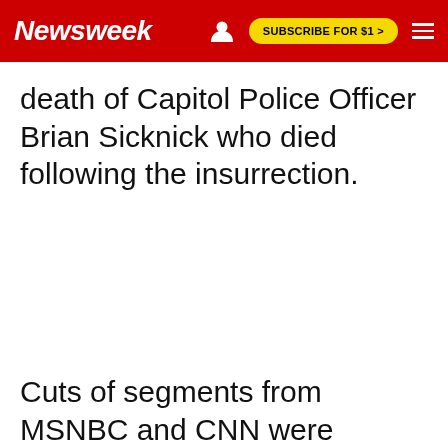Newsweek | SUBSCRIBE FOR $1 >
death of Capitol Police Officer Brian Sicknick who died following the insurrection.
Cuts of segments from MSNBC and CNN were